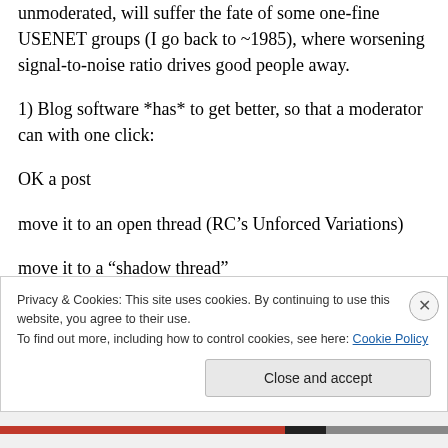unmoderated, will suffer the fate of some one-fine USENET groups (I go back to ~1985), where worsening signal-to-noise ratio drives good people away.
1) Blog software *has* to get better, so that a moderator can with one click:
OK a post
move it to an open thread (RC’s Unforced Variations)
move it to a “shadow thread”
Privacy & Cookies: This site uses cookies. By continuing to use this website, you agree to their use.
To find out more, including how to control cookies, see here: Cookie Policy
Close and accept